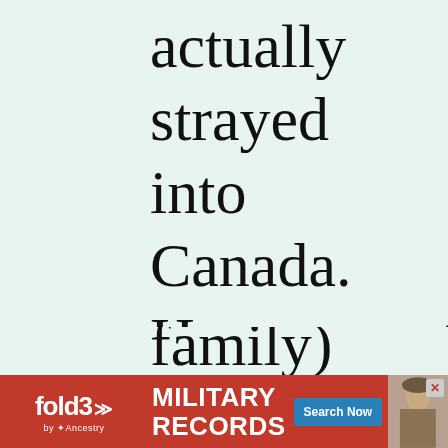actually strayed into Canada. However, this is contradicted by the 1850 census (with the McDougall family) which
[Figure (other): Advertisement banner for Fold3 by Ancestry - Military Records, Search Now button, soldier photo]